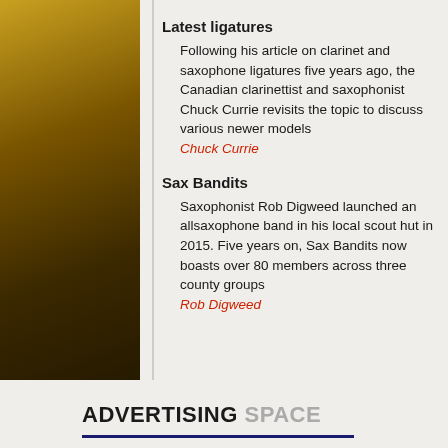Latest ligatures
Following his article on clarinet and saxophone ligatures five years ago, the Canadian clarinettist and saxophonist Chuck Currie revisits the topic to discuss various newer models
Chuck Currie
Sax Bandits
Saxophonist Rob Digweed launched an allsaxophone band in his local scout hut in 2015. Five years on, Sax Bandits now boasts over 80 members across three county groups
Rob Digweed
ADVERTISING SPACE